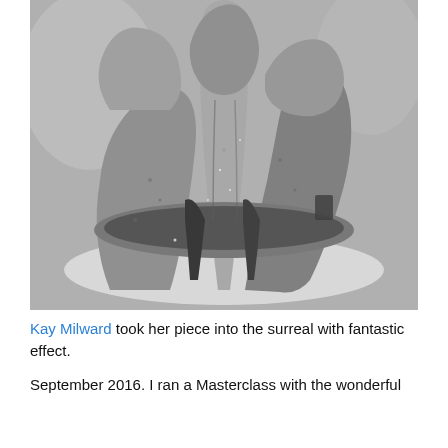[Figure (photo): Black and white photograph of a large surreal sculptural piece resembling a fantastical creature or structure with thick textured stone-like limbs and a curved organic form, sitting on a flat surface. Workshop setting visible in background.]
Kay Milward took her piece into the surreal with fantastic effect.
September 2016. I ran a Masterclass with the wonderful